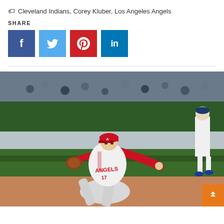🏷 Cleveland Indians, Corey Kluber, Los Angeles Angels
SHARE
[Figure (infographic): Social share buttons: Facebook (blue), Twitter (light blue), Pinterest (red), LinkedIn (blue) — square icon buttons with white social media icons]
[Figure (photo): Baseball player wearing Los Angeles Angels uniform number 17 in a white and grey jersey with red accents and red cap, in a pitching follow-through stance on a baseball field. Green outfield wall visible in background along with spectators and another player in a white uniform.]